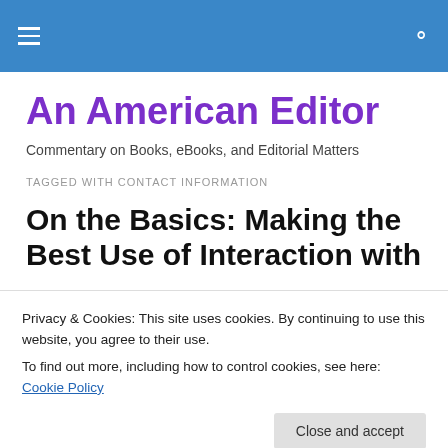An American Editor — site header navigation bar
An American Editor
Commentary on Books, eBooks, and Editorial Matters
TAGGED WITH CONTACT INFORMATION
On the Basics: Making the Best Use of Interaction with
Privacy & Cookies: This site uses cookies. By continuing to use this website, you agree to their use.
To find out more, including how to control cookies, see here: Cookie Policy
Close and accept
Networking and Etiquette